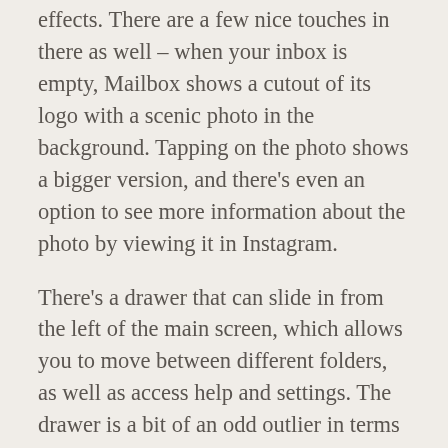effects. There are a few nice touches in there as well – when your inbox is empty, Mailbox shows a cutout of its logo with a scenic photo in the background. Tapping on the photo shows a bigger version, and there's even an option to see more information about the photo by viewing it in Instagram.
There's a drawer that can slide in from the left of the main screen, which allows you to move between different folders, as well as access help and settings. The drawer is a bit of an odd outlier in terms of visual design, with brightly colored icons in an otherwise subdued app. I find the effect a little cartoonish, and they'd probably be better off with grayscale icons.
Since it's unable to run in the background like Apple's built-in Mail app, Mailbox uses iOS...